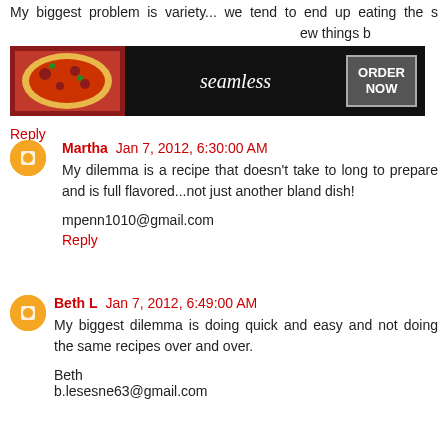My biggest problem is variety... we tend to end up eating the same...ew things b...
[Figure (screenshot): Seamless food delivery advertisement banner with pizza image, 'seamless' branding and 'ORDER NOW' button]
Reply
Martha  Jan 7, 2012, 6:30:00 AM
My dilemma is a recipe that doesn't take to long to prepare and is full flavored...not just another bland dish!
mpenn1010@gmail.com
Reply
Beth L  Jan 7, 2012, 6:49:00 AM
My biggest dilemma is doing quick and easy and not doing the same recipes over and over.
Beth
b.lesesne63@gmail.com